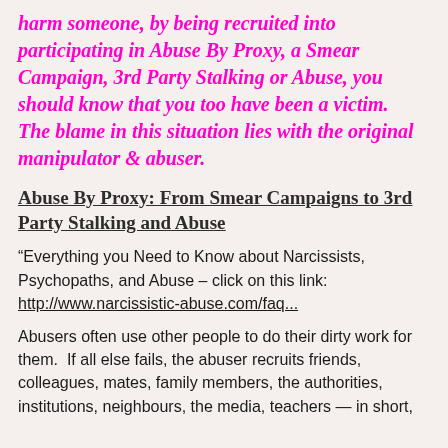harm someone, by being recruited into participating in Abuse By Proxy, a Smear Campaign, 3rd Party Stalking or Abuse, you should know that you too have been a victim.  The blame in this situation lies with the original manipulator & abuser.
Abuse By Proxy: From Smear Campaigns to 3rd Party Stalking and Abuse
“Everything you Need to Know about Narcissists, Psychopaths, and Abuse – click on this link: http://www.narcissistic-abuse.com/faq...
Abusers often use other people to do their dirty work for them.  If all else fails, the abuser recruits friends, colleagues, mates, family members, the authorities, institutions, neighbours, the media, teachers — in short,